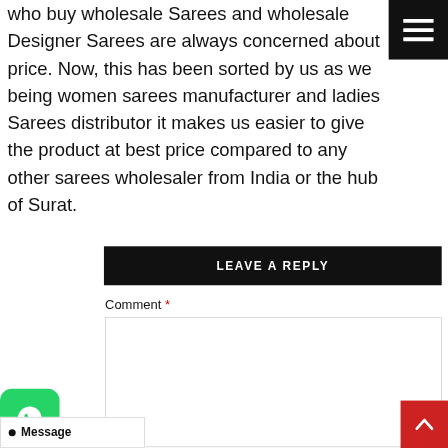who buy wholesale Sarees and wholesale Designer Sarees are always concerned about price. Now, this has been sorted by us as we being women sarees manufacturer and ladies Sarees distributor it makes us easier to give the product at best price compared to any other sarees wholesaler from India or the hub of Surat.
LEAVE A REPLY
Comment *
Name *